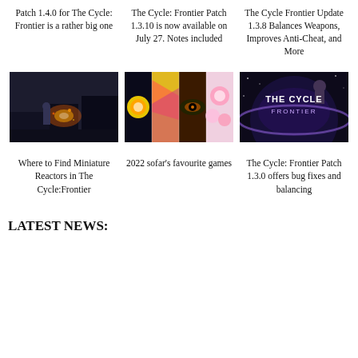Patch 1.4.0 for The Cycle: Frontier is a rather big one
The Cycle: Frontier Patch 1.3.10 is now available on July 27. Notes included
The Cycle Frontier Update 1.3.8 Balances Weapons, Improves Anti-Cheat, and More
[Figure (photo): Dark sci-fi game screenshot with fire/combat scene]
[Figure (illustration): Collage of colorful 2022 games artwork]
[Figure (photo): The Cycle: Frontier logo on a dark background]
Where to Find Miniature Reactors in The Cycle:Frontier
2022 sofar's favourite games
The Cycle: Frontier Patch 1.3.0 offers bug fixes and balancing
LATEST NEWS: